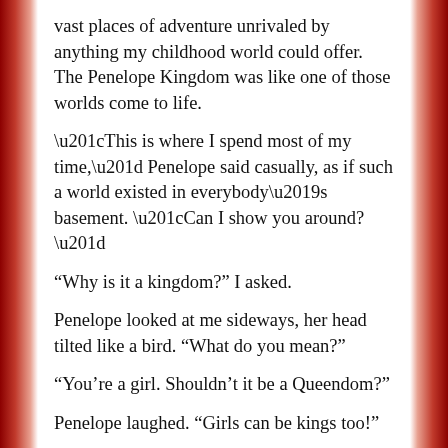vast places of adventure unrivaled by anything my childhood world could offer. The Penelope Kingdom was like one of those worlds come to life.
“This is where I spend most of my time,” Penelope said casually, as if such a world existed in everybody’s basement. “Can I show you around?”
“Why is it a kingdom?” I asked.
Penelope looked at me sideways, her head tilted like a bird. “What do you mean?”
“You’re a girl. Shouldn’t it be a Queendom?”
Penelope laughed. “Girls can be kings too!”
“They can?”
“Why not?”
I didn’t have an answer. I liked the idea, actually.